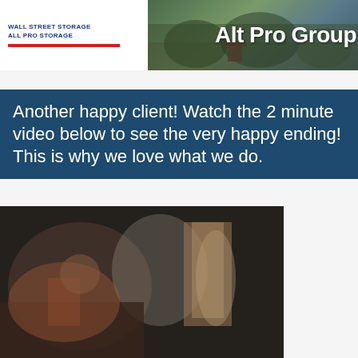[Figure (logo): All Pro Group website header with logo box showing 'WALL STREET STORAGE / ALL PRO STORAGE' with red bar, and landscape background photo with 'Alt Pro Group' text]
Another happy client! Watch the 2 minute video below to see the very happy ending! This is why we love what we do.
[Figure (screenshot): Blurred video thumbnail showing interior scene with warm tones]